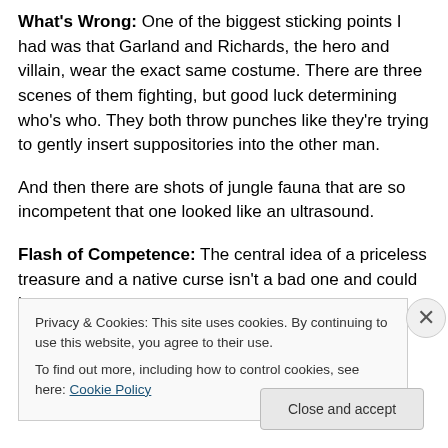What's Wrong: One of the biggest sticking points I had was that Garland and Richards, the hero and villain, wear the exact same costume. There are three scenes of them fighting, but good luck determining who's who. They both throw punches like they're trying to gently insert suppositories into the other man.
And then there are shots of jungle fauna that are so incompetent that one looked like an ultrasound.
Flash of Competence: The central idea of a priceless treasure and a native curse isn't a bad one and could have
Privacy & Cookies: This site uses cookies. By continuing to use this website, you agree to their use.
To find out more, including how to control cookies, see here: Cookie Policy
Close and accept